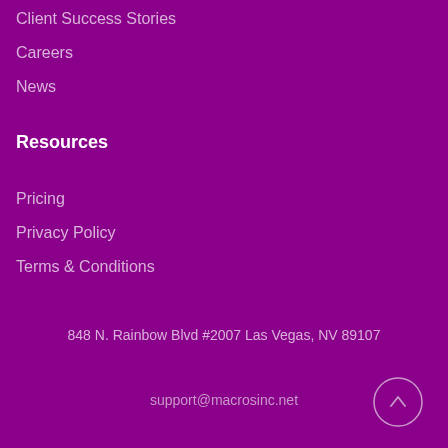Client Success Stories
Careers
News
Resources
Pricing
Privacy Policy
Terms & Conditions
848 N. Rainbow Blvd #2007 Las Vegas, NV 89107
support@macrosinc.net